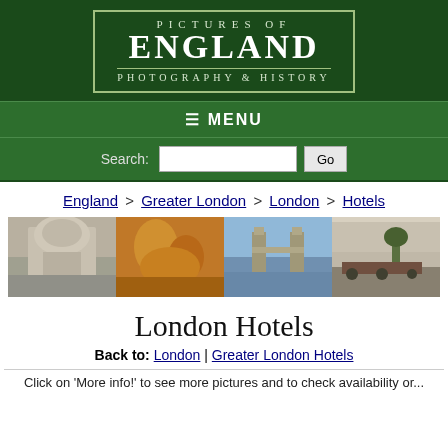[Figure (logo): Pictures of England – Photography & History logo on dark green background with border]
≡ MENU
Search: [text field] Go
England > Greater London > London > Hotels
[Figure (photo): Four thumbnail photos of London: a domed building, golden statue detail, Tower Bridge, and horse-drawn carriages on a street]
London Hotels
Back to: London | Greater London Hotels
Click on 'More info!' to see more pictures and to check availability or...